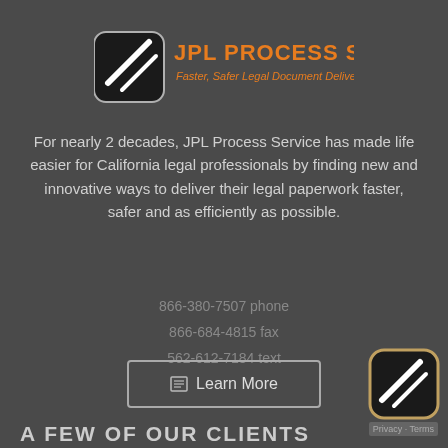[Figure (logo): JPL Process Service logo with orange text and shield icon. Text reads 'JPL PROCESS SERVICE' and 'Faster, Safer Legal Document Delivery']
For nearly 2 decades, JPL Process Service has made life easier for California legal professionals by finding new and innovative ways to deliver their legal paperwork faster, safer and as efficiently as possible.
866-380-7507 phone
866-684-4815 fax
562-612-7184 text
Learn More
A FEW OF OUR CLIENTS
[Figure (logo): Small JPL Process Service icon/logo in bottom right corner]
Privacy · Terms